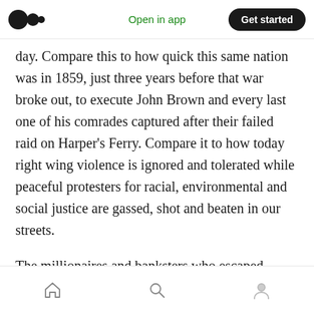Open in app | Get started
day. Compare this to how quick this same nation was in 1859, just three years before that war broke out, to execute John Brown and every last one of his comrades captured after their failed raid on Harper's Ferry. Compare it to how today right wing violence is ignored and tolerated while peaceful protesters for racial, environmental and social justice are gassed, shot and beaten in our streets.
The millionaires and banksters who escaped prosecution for their 1933 coup attempt
Home | Search | Profile